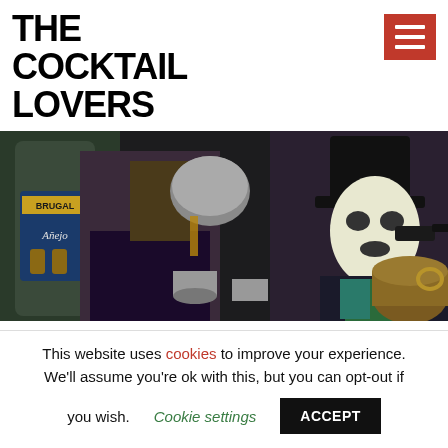THE COCKTAIL LOVERS
[Figure (photo): Two performers in costume pouring cocktails using silver cups and barware, with a Brugal Añejo rum bottle visible on the left. One performer wears face paint and a top hat.]
Great Scots!
This website uses cookies to improve your experience. We'll assume you're ok with this, but you can opt-out if you wish. Cookie settings ACCEPT